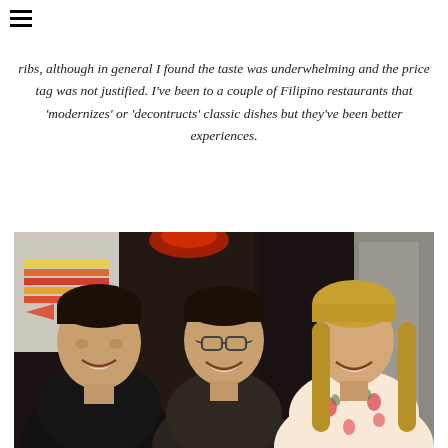☰
ribs, although in general I found the taste was underwhelming and the price tag was not justified. I've been to a couple of Filipino restaurants that 'modernizes' or 'decontructs' classic dishes but they've been better experiences.
[Figure (photo): Three people (two men and a woman) smiling at a restaurant, seated in a dark booth. The woman on the right has long hair and is wearing a floral top. The man in the center wears glasses. A colorful artwork panel is visible on the left background with a red light accent above the booth.]